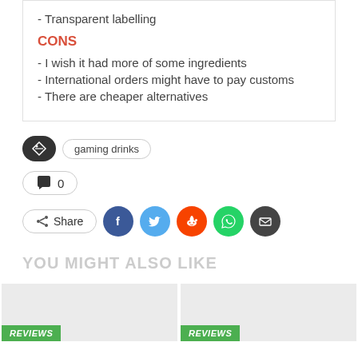- Transparent labelling
CONS
- I wish it had more of some ingredients
- International orders might have to pay customs
- There are cheaper alternatives
gaming drinks
0
Share
YOU MIGHT ALSO LIKE
REVIEWS
REVIEWS